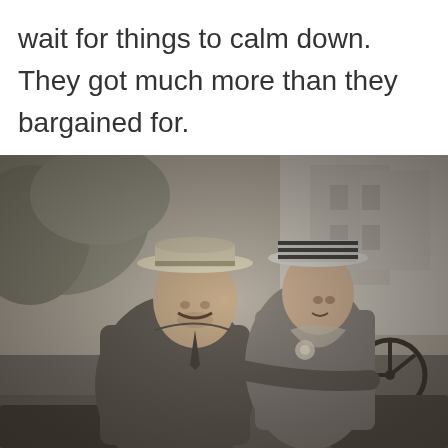wait for things to calm down. They got much more than they bargained for.
[Figure (photo): Black and white vintage photograph of a man wearing a straw boater hat and a woman wearing a striped hat, seated together in an early automobile. The man appears to be driving.]